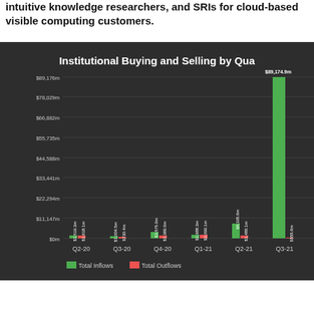intuitive knowledge researchers, and SRIs for cloud-based visible computing customers.
[Figure (grouped-bar-chart): Institutional Buying and Selling by Quarter]